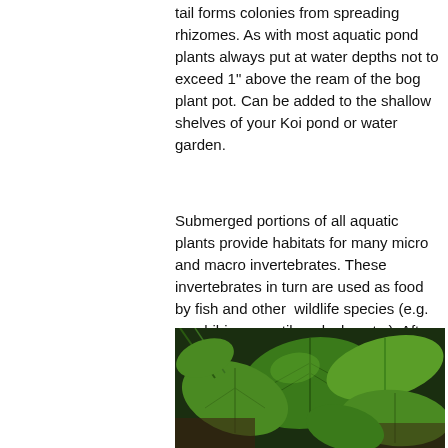tail forms colonies from spreading rhizomes. As with most aquatic pond plants always put at water depths not to exceed 1" above the ream of the bog plant pot. Can be added to the shallow shelves of your Koi pond or water garden.
Submerged portions of all aquatic plants provide habitats for many micro and macro invertebrates. These invertebrates in turn are used as food by fish and other wildlife species (e.g. amphibians, reptiles, ducks, etc.). After aqauatic plants die, their decomposition by bacteria and fungi provides food (called "detritus")  for many aquatic invertebrates. Lizard's tail has no known direct food value to wildlife.
[Figure (photo): Close-up photograph of large green heart-shaped leaves of a lizard's tail aquatic plant, showing vivid green color with visible leaf veins against a dark background.]